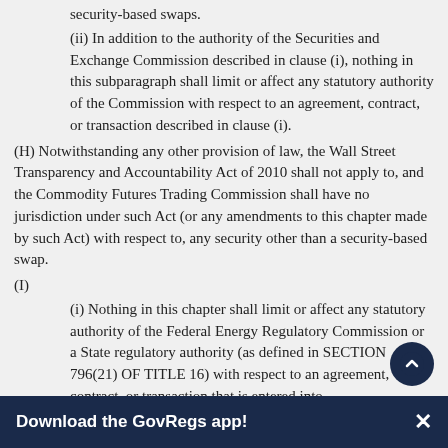security-based swaps.
(ii) In addition to the authority of the Securities and Exchange Commission described in clause (i), nothing in this subparagraph shall limit or affect any statutory authority of the Commission with respect to an agreement, contract, or transaction described in clause (i).
(H) Notwithstanding any other provision of law, the Wall Street Transparency and Accountability Act of 2010 shall not apply to, and the Commodity Futures Trading Commission shall have no jurisdiction under such Act (or any amendments to this chapter made by such Act) with respect to, any security other than a security-based swap.
(I)
(i) Nothing in this chapter shall limit or affect any statutory authority of the Federal Energy Regulatory Commission or a State regulatory authority (as defined in SECTION 796(21) OF TITLE 16) with respect to an agreement, contract, or transaction that is entered into
Download the GovRegs app!